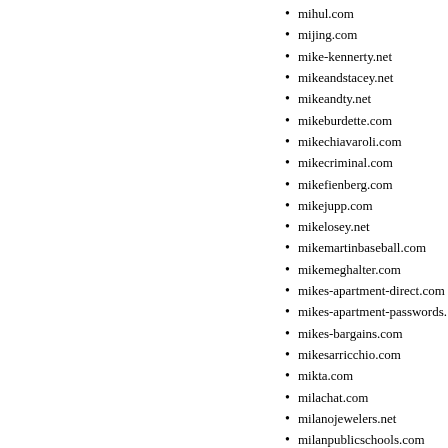mihul.com
mijing.com
mike-kennerty.net
mikeandstacey.net
mikeandty.net
mikeburdette.com
mikechiavaroli.com
mikecriminal.com
mikefienberg.com
mikejupp.com
mikelosey.net
mikemartinbaseball.com
mikemeghalter.com
mikes-apartment-direct.com
mikes-apartment-passwords.
mikes-bargains.com
mikesarricchio.com
mikta.com
milachat.com
milanojewelers.net
milanpublicschools.com
milboxes.com
mildred-rembert.com
milftravel.com
milfwireless.com
milgendg.com
milhornphotoimaging.com
militarycorporate.com